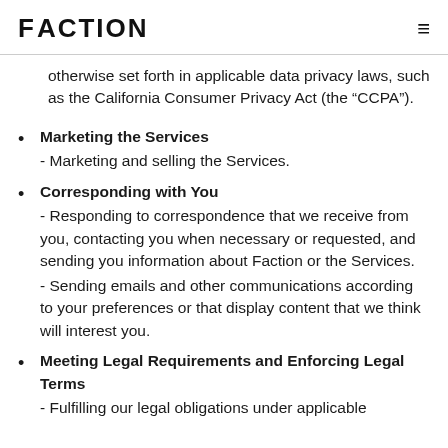FACTION
otherwise set forth in applicable data privacy laws, such as the California Consumer Privacy Act (the “CCPA”).
Marketing the Services
- Marketing and selling the Services.
Corresponding with You
- Responding to correspondence that we receive from you, contacting you when necessary or requested, and sending you information about Faction or the Services.
- Sending emails and other communications according to your preferences or that display content that we think will interest you.
Meeting Legal Requirements and Enforcing Legal Terms
- Fulfilling our legal obligations under applicable